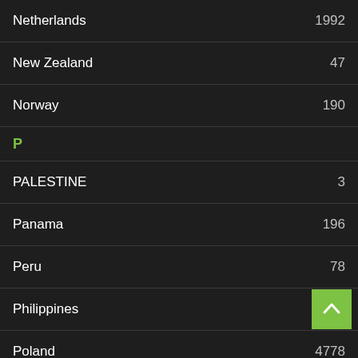Netherlands 1992
New Zealand 47
Norway 190
P
PALESTINE 3
Panama 196
Peru 78
Philippines 999
Poland 4778
Portugal 97
Puerto Rico 38
R
Romania 3709
Russia 6950
S
Singapore